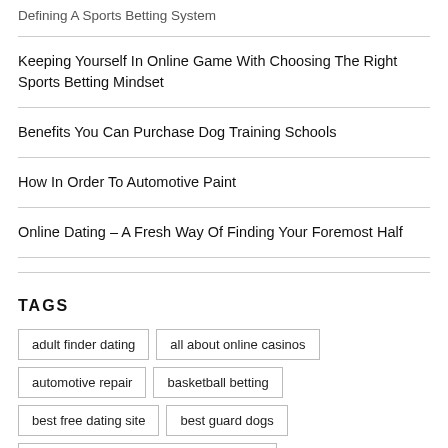Defining A Sports Betting System
Keeping Yourself In Online Game With Choosing The Right Sports Betting Mindset
Benefits You Can Purchase Dog Training Schools
How In Order To Automotive Paint
Online Dating – A Fresh Way Of Finding Your Foremost Half
TAGS
adult finder dating
all about online casinos
automotive repair
basketball betting
best free dating site
best guard dogs
best online casinos and website reviews